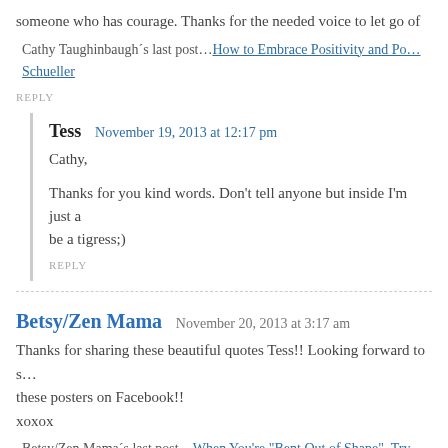someone who has courage. Thanks for the needed voice to let go of
Cathy Taughinbaugh´s last post…How to Embrace Positivity and Po… Schueller
REPLY
Tess  November 19, 2013 at 12:17 pm
Cathy,
Thanks for you kind words. Don't tell anyone but inside I'm just a… be a tigress;)
REPLY
Betsy/Zen Mama  November 20, 2013 at 3:17 am
Thanks for sharing these beautiful quotes Tess!! Looking forward to s… these posters on Facebook!!
xoxox
Betsy/Zen Mama´s last post…When You're "Bent Out of Shape", Try